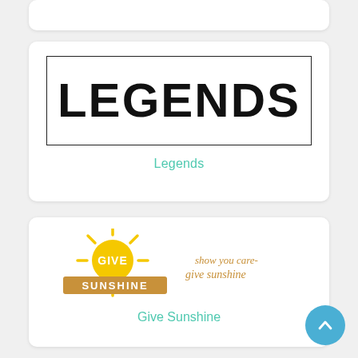[Figure (logo): Legends logo: black bold text LEGENDS inside a rectangular border]
Legends
[Figure (logo): Give Sunshine logo: sun graphic with text GIVE SUNSHINE and tagline 'show you care- give sunshine']
Give Sunshine